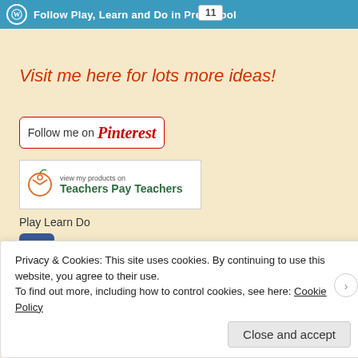Follow Play, Learn and Do in Preschool  11
Visit me here for lots more ideas!
[Figure (other): Follow me on Pinterest button — white rounded rectangle with red border, text 'Follow me on Pinterest' in black and red cursive]
[Figure (logo): Teachers Pay Teachers banner — white rectangle with apple logo and text 'view my products on Teachers Pay Teachers' in green]
Play Learn Do
[Figure (logo): Facebook icon — blue rounded square with white 'f' letter]
Create Your Badge
[Figure (other): Broken image placeholder — white/beige box with small broken image icon]
Privacy & Cookies: This site uses cookies. By continuing to use this website, you agree to their use.
To find out more, including how to control cookies, see here: Cookie Policy
Close and accept